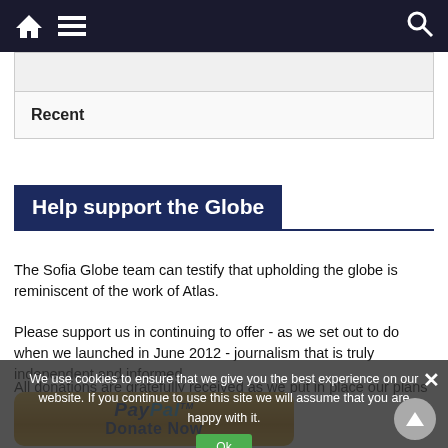Navigation bar with home, menu, and search icons
| Recent |
Help support the Globe
The Sofia Globe team can testify that upholding the globe is reminiscent of the work of Atlas.
Please support us in continuing to offer - as we set out to do when we launched in June 2012 - journalism that is truly independent and informed.
All donations are gratefully received as we put in place our plans to grow in the years ahead.
We use cookies to ensure that we give you the best experience on our website. If you continue to use this site we will assume that you are happy with it.
[Figure (other): PayPal Donate Now button — gold rounded rectangle with PayPal logo and 'Donate Now' text]